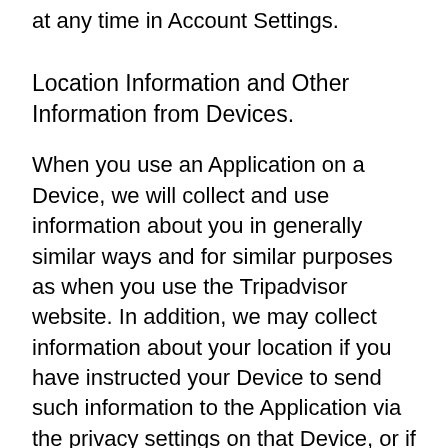at any time in Account Settings.
Location Information and Other Information from Devices.
When you use an Application on a Device, we will collect and use information about you in generally similar ways and for similar purposes as when you use the Tripadvisor website. In addition, we may collect information about your location if you have instructed your Device to send such information to the Application via the privacy settings on that Device, or if you have uploaded photos tagged with location information. We may use the location information collected from your Device or photos to enhance your use of the Application by providing you with relevant content and contextual advertising. For example, we may use your location